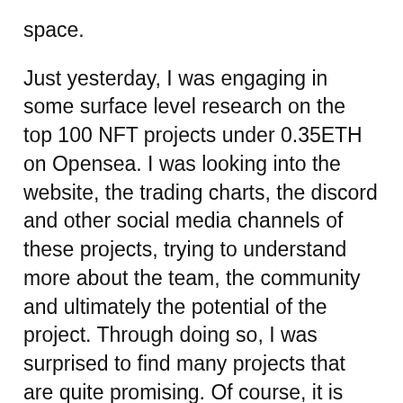space.
Just yesterday, I was engaging in some surface level research on the top 100 NFT projects under 0.35ETH on Opensea. I was looking into the website, the trading charts, the discord and other social media channels of these projects, trying to understand more about the team, the community and ultimately the potential of the project. Through doing so, I was surprised to find many projects that are quite promising. Of course, it is highly suggested not to trust the information you see on the web.
Screening projects also helped me realize what are some of the factors that are important to myself when looking to get an NFT. Here's a list of non-